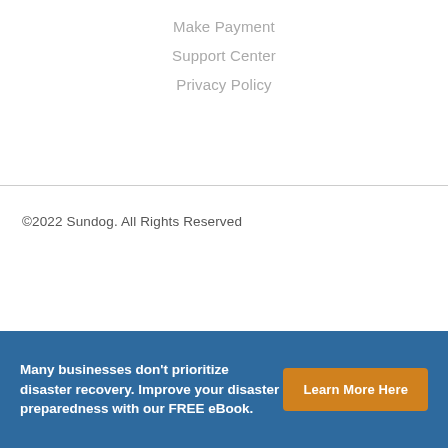Make Payment
Support Center
Privacy Policy
©2022 Sundog. All Rights Reserved
Many businesses don't prioritize disaster recovery. Improve your disaster preparedness with our FREE eBook.
Learn More Here